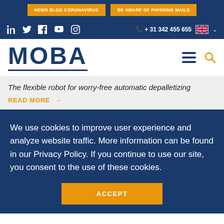NEWS BLOG CORONAVIRUS | BE AWARE OF PHISHING MAILS
+ 31 342 455 655
[Figure (logo): MOBA company logo in dark blue with underline]
The flexible robot for worry-free automatic depalletizing
READ MORE →
We use cookies to improve user experience and analyze website traffic. More information can be found in our Privacy Policy. If you continue to use our site, you consent to the use of these cookies.
ACCEPT